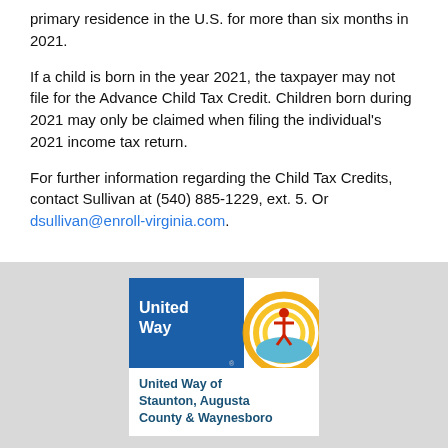primary residence in the U.S. for more than six months in 2021.
If a child is born in the year 2021, the taxpayer may not file for the Advance Child Tax Credit. Children born during 2021 may only be claimed when filing the individual's 2021 income tax return.
For further information regarding the Child Tax Credits, contact Sullivan at (540) 885-1229, ext. 5. Or dsullivan@enroll-virginia.com.
[Figure (logo): United Way logo with blue background and orange/gold rainbow arc, with a stylized person figure. Text below reads: United Way of Staunton, Augusta County & Waynesboro]
ABOUT
Mission and Vision
Board of Directors
Staff